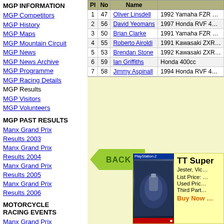MGP INFORMATION
MGP Competitors
MGP History
MGP Maps
MGP Mountain Circuit
MGP News
MGP News Archive
MGP Programme
MGP Racing Details
MGP Results
MGP Visitors
MGP Volunteers
MGP PAST RESULTS
Manx Grand Prix Results 2003
Manx Grand Prix Results 2004
Manx Grand Prix Results 2005
Manx Grand Prix Results 2006
MOTORCYCLE RACING EVENTS
Manx Grand Prix
| Pl | No | Name |  |
| --- | --- | --- | --- |
| 1 | 47 | Oliver Linsdell | 1992 Yamaha FZR … |
| 2 | 56 | David Yeomans | 1997 Honda RVF 4… |
| 3 | 50 | Brian Clarke | 1991 Yamaha FZR … |
| 4 | 55 | Roberto Airoldi | 1991 Kawasaki ZXR… |
| 5 | 53 | Brendan Stone | 1992 Kawasaki ZXR… |
| 6 | 59 | Ian Griffiths | Honda 400cc |
| 7 | 58 | Jimmy Aspinall | 1994 Honda RVF 4… |
[Figure (other): Back navigation button with green arrow shape and text BACK]
[Figure (other): Advertisement box showing PlayStation 2 game TT Super with game cover image, pricing details including List Price, Used Price, Third Party, and Buy Now link]